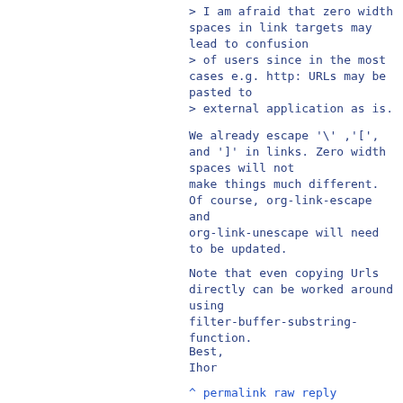> I am afraid that zero width spaces in link targets may lead to confusion
> of users since in the most cases e.g. http: URLs may be pasted to
> external application as is.
We already escape '\' ,'[',
and ']' in links. Zero width
spaces will not
make things much different.
Of course, org-link-escape
and
org-link-unescape will need
to be updated.
Note that even copying Urls
directly can be worked around
using
filter-buffer-substring-
function.
Best,
Ihor
^ permalink raw reply
[flat|nested] 7+ messages in